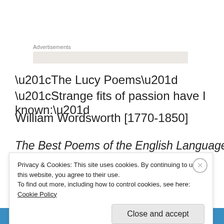Advertisements
“The Lucy Poems”
“Strange fits of passion have I known:”
William Wordsworth [1770-1850]
The Best Poems of the English Language with selections
Privacy & Cookies: This site uses cookies. By continuing to use this website, you agree to their use.
To find out more, including how to control cookies, see here: Cookie Policy
Close and accept